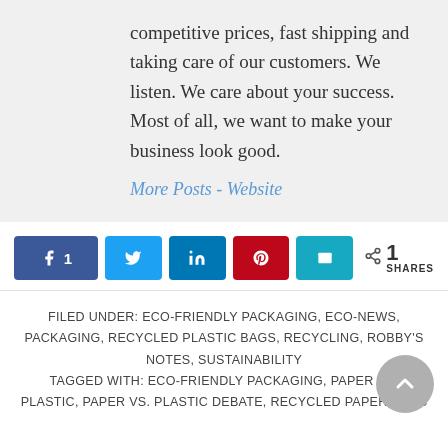competitive prices, fast shipping and taking care of our customers. We listen. We care about your success. Most of all, we want to make your business look good.
More Posts - Website
[Figure (other): Social sharing buttons: Facebook (1 share), Twitter, LinkedIn, Pinterest, Email, and a share count showing 1 SHARES]
FILED UNDER: ECO-FRIENDLY PACKAGING, ECO-NEWS, PACKAGING, RECYCLED PLASTIC BAGS, RECYCLING, ROBBY'S NOTES, SUSTAINABILITY
TAGGED WITH: ECO-FRIENDLY PACKAGING, PAPER VS. PLASTIC, PAPER VS. PLASTIC DEBATE, RECYCLED PAPER BAGS